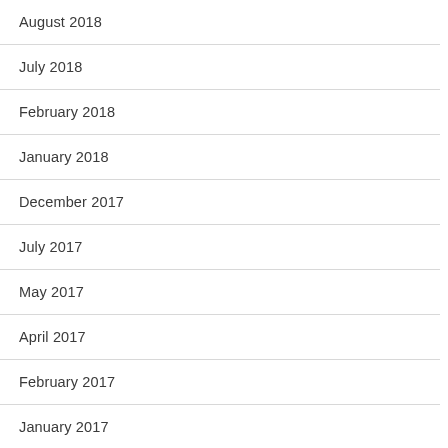August 2018
July 2018
February 2018
January 2018
December 2017
July 2017
May 2017
April 2017
February 2017
January 2017
December 2016
October 2016